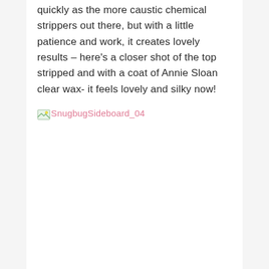quickly as the more caustic chemical strippers out there, but with a little patience and work, it creates lovely results – here's a closer shot of the top stripped and with a coat of Annie Sloan clear wax- it feels lovely and silky now!
[Figure (other): Broken image placeholder labeled SnugbugSideboard_04]